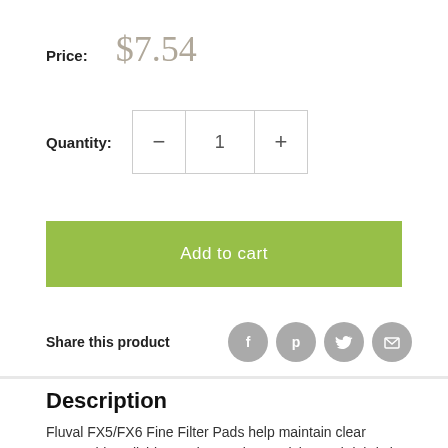Price: $7.54
Quantity: 1
Add to cart
Share this product
Description
Fluval FX5/FX6 Fine Filter Pads help maintain clear water. This polishing pad traps tiny particles and debris in fresh and